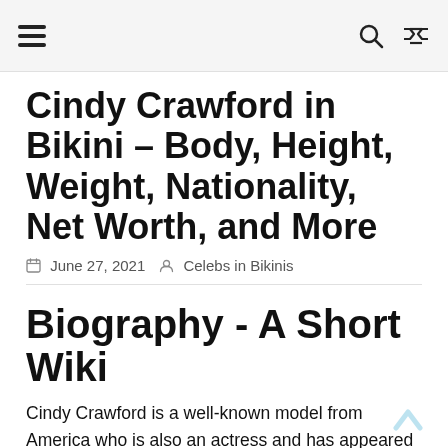≡   🔍  ⇄
Cindy Crawford in Bikini – Body, Height, Weight, Nationality, Net Worth, and More
June 27, 2021   Celebs in Bikinis
Biography - A Short Wiki
Cindy Crawford is a well-known model from America who is also an actress and has appeared in many films. She is a very successful model who has appeared on the cover of hundreds of magazines in